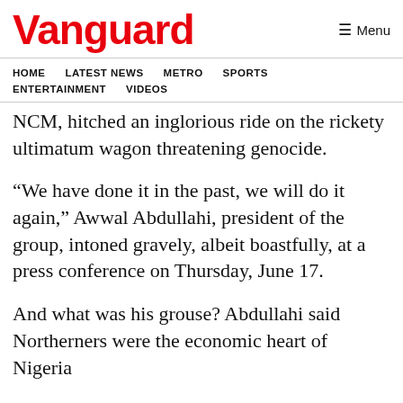Vanguard
HOME  LATEST NEWS  METRO  SPORTS  ENTERTAINMENT  VIDEOS
NCM, hitched an inglorious ride on the rickety ultimatum wagon threatening genocide.
“We have done it in the past, we will do it again,” Awwal Abdullahi, president of the group, intoned gravely, albeit boastfully, at a press conference on Thursday, June 17.
And what was his grouse? Abdullahi said Northerners were the economic heart of Nigeria